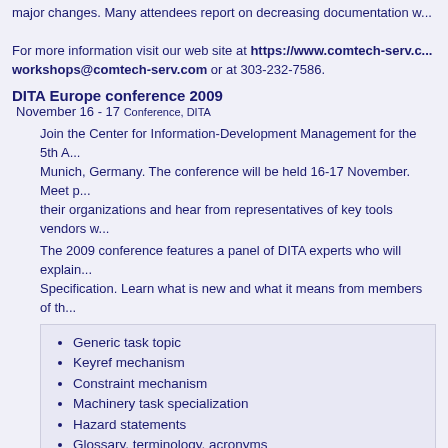major changes. Many attendees report on decreasing documentation w... For more information visit our web site at https://www.comtech-serv.c... workshops@comtech-serv.com or at 303-232-7586.
DITA Europe conference 2009
November 16 - 17 Conference, DITA
Join the Center for Information-Development Management for the 5th A... Munich, Germany. The conference will be held 16-17 November. Meet p... their organizations and hear from representatives of key tools vendors w...
The 2009 conference features a panel of DITA experts who will explain... Specification. Learn what is new and what it means from members of th...
Generic task topic
Keyref mechanism
Constraint mechanism
Machinery task specialization
Hazard statements
Glossary, terminology, acronyms
Learning and training specialization
Referencing a range of elements
Conref push
DITA Europe gives you many opportunities to learn about DITA from pe... Learn the benefits of managing information as topics and the pitfalls to... what DITA is, how it can improve your technical information, and what t...
For more information or to register, visit the conference website at https://www.infomanagementcenter.com/DITAeurope/2009/index.h... 303-232-7586.